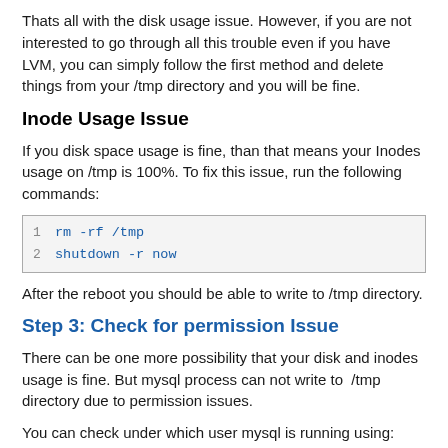Thats all with the disk usage issue. However, if you are not interested to go through all this trouble even if you have LVM, you can simply follow the first method and delete things from your /tmp directory and you will be fine.
Inode Usage Issue
If you disk space usage is fine, than that means your Inodes usage on /tmp is 100%. To fix this issue, run the following commands:
[Figure (screenshot): Code block with two lines: '1  rm -rf /tmp' and '2  shutdown -r now']
After the reboot you should be able to write to /tmp directory.
Step 3: Check for permission Issue
There can be one more possibility that your disk and inodes usage is fine. But mysql process can not write to  /tmp directory due to permission issues.
You can check under which user mysql is running using: